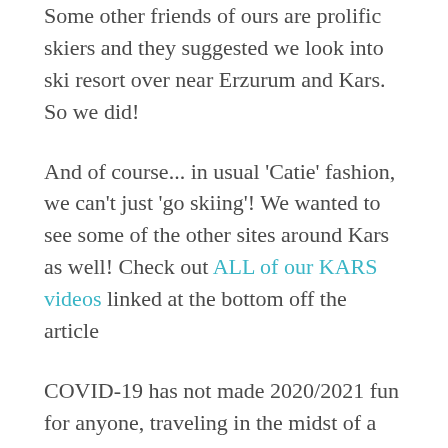Some other friends of ours are prolific skiers and they suggested we look into ski resort over near Erzurum and Kars. So we did!
And of course... in usual 'Catie' fashion, we can't just 'go skiing'! We wanted to see some of the other sites around Kars as well! Check out ALL of our KARS videos linked at the bottom off the article
COVID-19 has not made 2020/2021 fun for anyone, traveling in the midst of a global pandemic meant we had to be extra careful and mindful of our